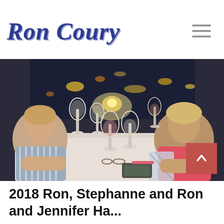Ron Coury
[Figure (photo): Two women sitting at a white-tablecloth restaurant table with wine glasses, a candle, and a smartphone on the table. City lights visible through window in background. Woman on left wears striped top, woman on right wears pink top and plaid wrap.]
2018 Ron, Stephanne and Ron and Jennifer Ha...